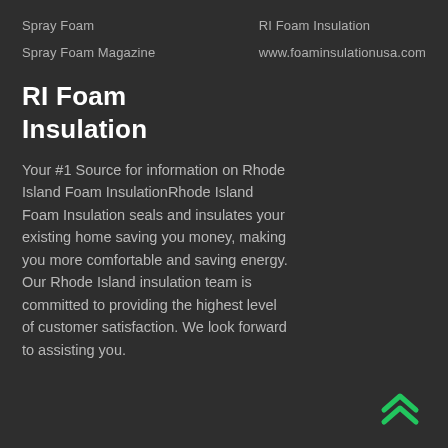Spray Foam
RI Foam Insulation
Spray Foam Magazine
www.foaminsulationusa.com
RI Foam Insulation
Your #1 Source for information on Rhode Island Foam InsulationRhode Island Foam Insulation seals and insulates your existing home saving you money, making you more comfortable and saving energy. Our Rhode Island insulation team is committed to providing the highest level of customer satisfaction. We look forward to assisting you.
[Figure (illustration): Two green upward-pointing chevron arrows stacked, used as a scroll-to-top or navigation icon, positioned in the bottom-right corner.]